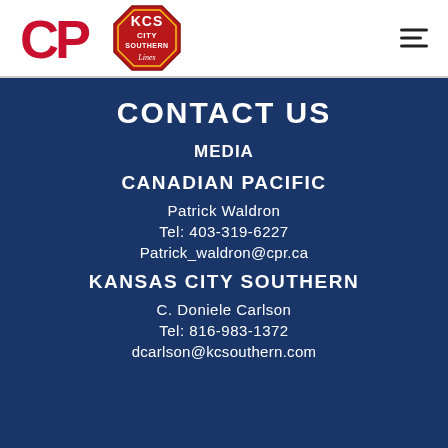[Figure (logo): CP Canadian Pacific logo — red bold letters CP on white background]
[Figure (logo): Kansas City Southern Lines logo — red octagon badge with KCS and Lines script]
CONTACT US
MEDIA
CANADIAN PACIFIC
Patrick Waldron
Tel: 403-319-6227
Patrick_waldron@cpr.ca
KANSAS CITY SOUTHERN
C. Doniele Carlson
Tel: 816-983-1372
dcarlson@kcsouthern.com